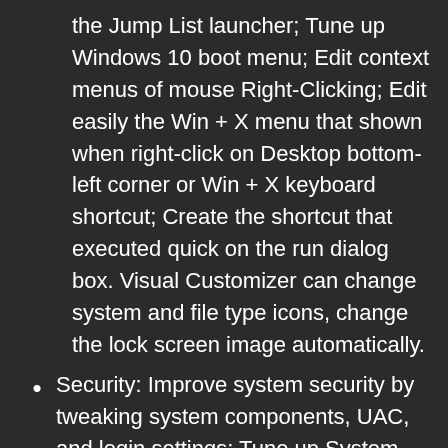the Jump List launcher; Tune up Windows 10 boot menu; Edit context menus of mouse Right-Clicking; Edit easily the Win + X menu that shown when right-click on Desktop bottom-left corner or Win + X keyboard shortcut; Create the shortcut that executed quick on the run dialog box. Visual Customizer can change system and file type icons, change the lock screen image automatically.
Security: Improve system security by tweaking system components, UAC, and login settings; Tune up System Restore options; Hide and restrict to access drives and programs; Encrypt/decrypt files, move system folders to safe locations; Undelete the files that accidentally deleted or formatted on disk; Privacy Protector can maintain your personal privacy by eliminating the tracks that you leave behind; Hide, add uninstall tool